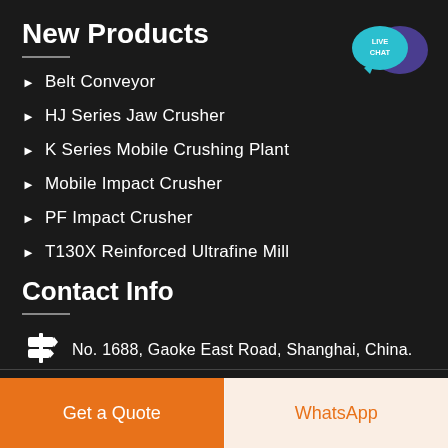New Products
Belt Conveyor
HJ Series Jaw Crusher
K Series Mobile Crushing Plant
Mobile Impact Crusher
PF Impact Crusher
T130X Reinforced Ultrafine Mill
Contact Info
[Figure (illustration): Live chat speech bubble icon in teal and purple]
No. 1688, Gaoke East Road, Shanghai, China.
Get a Quote
WhatsApp